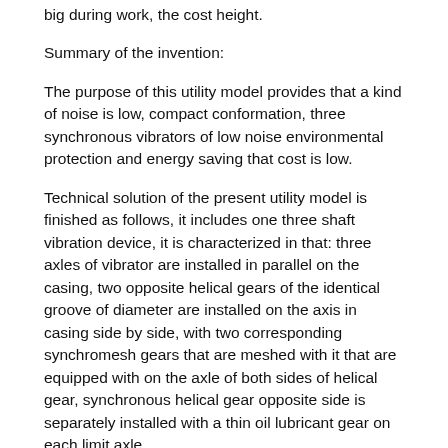big during work, the cost height.
Summary of the invention:
The purpose of this utility model provides that a kind of noise is low, compact conformation, three synchronous vibrators of low noise environmental protection and energy saving that cost is low.
Technical solution of the present utility model is finished as follows, it includes one three shaft vibration device, it is characterized in that: three axles of vibrator are installed in parallel on the casing, two opposite helical gears of the identical groove of diameter are installed on the axis in casing side by side, with two corresponding synchromesh gears that are meshed with it that are equipped with on the axle of both sides of helical gear, synchronous helical gear opposite side is separately installed with a thin oil lubricant gear on each limit axle.
The utility model is installed in respectively on three vibrator shafts with four helical gears, realize eccentric block synchronous vibration, and carry out thin oil lubricant with the thin oil lubricant gear, it is simple in structure,